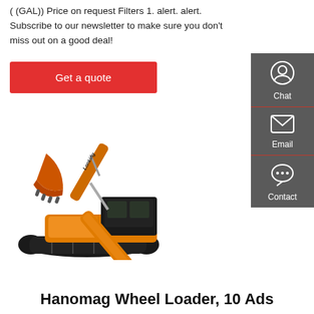( (GAL)) Price on request Filters 1. alert. alert. Subscribe to our newsletter to make sure you don't miss out on a good deal!
Get a quote
[Figure (photo): Orange Lonking tracked excavator on white background]
[Figure (infographic): Sidebar with Chat, Email, Contact icons on dark grey background]
Hanomag Wheel Loader, 10 Ads